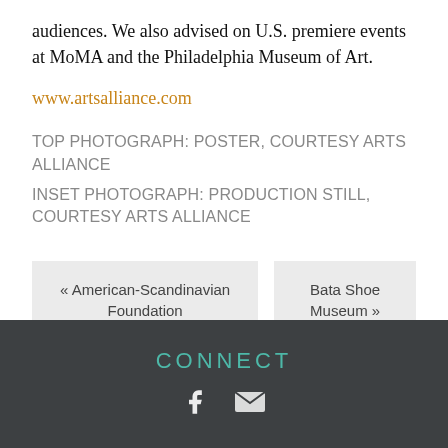audiences. We also advised on U.S. premiere events at MoMA and the Philadelphia Museum of Art.
www.artsalliance.com
TOP PHOTOGRAPH: POSTER, COURTESY ARTS ALLIANCE
INSET PHOTOGRAPH: PRODUCTION STILL, COURTESY ARTS ALLIANCE
« American-Scandinavian Foundation
Bata Shoe Museum »
CONNECT
[Figure (other): Social media icons: Facebook and email/envelope icons in white on dark background]